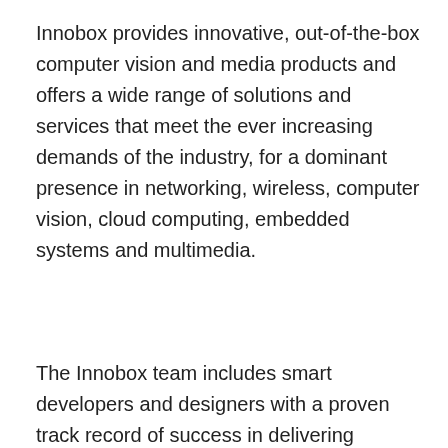Innobox provides innovative, out-of-the-box computer vision and media products and offers a wide range of solutions and services that meet the ever increasing demands of the industry, for a dominant presence in networking, wireless, computer vision, cloud computing, embedded systems and multimedia.
The Innobox team includes smart developers and designers with a proven track record of success in delivering multimedia platforms. Great results the clients the...